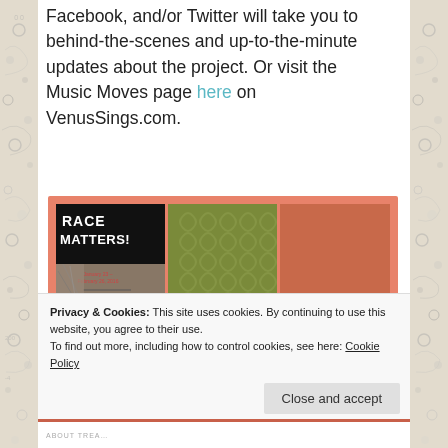Facebook, and/or Twitter will take you to behind-the-scenes and up-to-the-minute updates about the project. Or visit the Music Moves page here on VenusSings.com.
[Figure (screenshot): Screenshot of a website grid showing thumbnails: Race Matters poster, olive patterned tile, terracotta tile, salmon dotted tile, cream circle-patterned tile, and Music Moves website thumbnail with concert photos]
Privacy & Cookies: This site uses cookies. By continuing to use this website, you agree to their use.
To find out more, including how to control cookies, see here: Cookie Policy
Close and accept